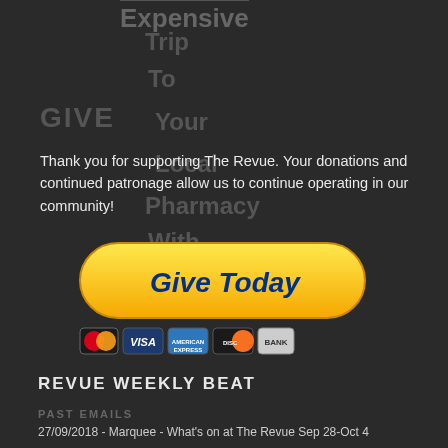Expensive
Trip
To
Your
Local
Pharmacy
With
A
GIVE
Thank you for supporting The Revue. Your donations and continued patronage allow us to continue operating in our community!
[Figure (illustration): Yellow pill-shaped 'Give Today' donation button with blue italic bold text, followed by payment method icons: Mastercard, Visa, American Express, Discover, Bank]
REVUE WEEKLY BEAT
PAST EMAILS
27/09/2018 - Marquee - What's on at The Revue Sep 28-Oct 4
20/09/2018 - Marquee - What's on at The Revue September 21-27
14/09/2018 - Marquee - What's on at The Revue September 14-20
30/08/2018 - Marquee - What's on at The Revue August 31-September 6
23/08/2018 - Marquee - What's on at The Revue August 24-30